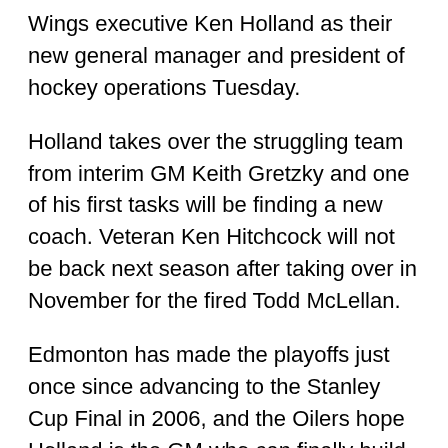Wings executive Ken Holland as their new general manager and president of hockey operations Tuesday.
Holland takes over the struggling team from interim GM Keith Gretzky and one of his first tasks will be finding a new coach. Veteran Ken Hitchcock will not be back next season after taking over in November for the fired Todd McLellan.
Edmonton has made the playoffs just once since advancing to the Stanley Cup Final in 2006, and the Oilers hope Holland is the GM who can finally build a contender around superstar captain